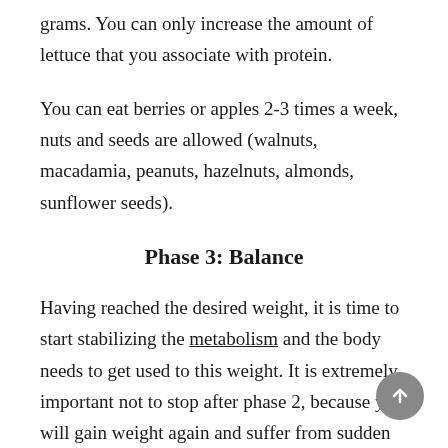grams. You can only increase the amount of lettuce that you associate with protein.
You can eat berries or apples 2-3 times a week, nuts and seeds are allowed (walnuts, macadamia, peanuts, hazelnuts, almonds, sunflower seeds).
Phase 3: Balance
Having reached the desired weight, it is time to start stabilizing the metabolism and the body needs to get used to this weight. It is extremely important not to stop after phase 2, because you will gain weight again and suffer from sudden nutritional imbalances.
In the third phase, you will increase the amount of